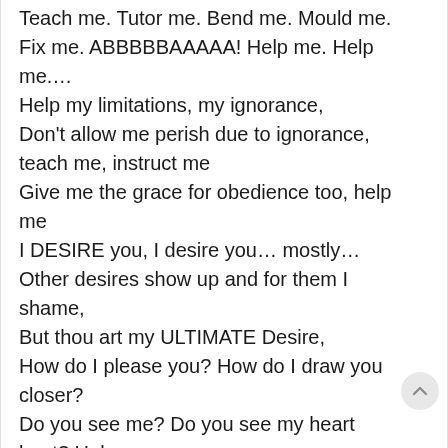Teach me. Tutor me. Bend me. Mould me. Fix me. ABBBBBAAAAA! Help me. Help me….
Help my limitations, my ignorance,
Don't allow me perish due to ignorance, teach me, instruct me
Give me the grace for obedience too, help me
I DESIRE you, I desire you… mostly…
Other desires show up and for them I shame,
But thou art my ULTIMATE Desire,
How do I please you? How do I draw you closer?
Do you see me? Do you see my heart beat? Help me.
Don't turn away from me….. Share your heart with me.
Destroy my heart with what destroys yours.
Help me to hate iniquity and to see your children with love and compassion
Love and compassion…